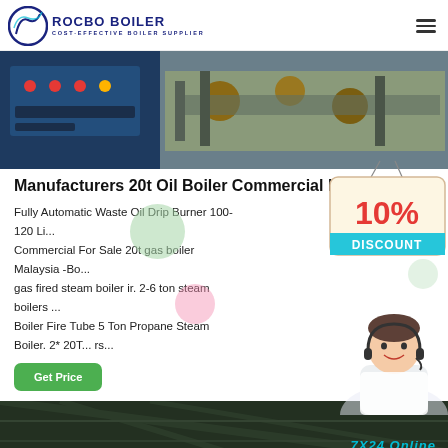ROCBO BOILER - COST-EFFECTIVE BOILER SUPPLIER
[Figure (photo): Industrial boiler equipment with blue control panel and copper pipe fittings in a factory setting]
Manufacturers 20t Oil Boiler Commercial Latvia
Fully Automatic Waste Oil Drip Burner 100-120 Li... Commercial For Sale 20t gas boiler Malaysia -Bo... gas fired steam boiler ir. 2-6 ton steam boilers ... Boiler Fire Tube 5 Ton Propane Steam Boiler. 2* 20T... rs...
[Figure (illustration): 10% DISCOUNT badge hanging sign in red and teal colors]
[Figure (photo): Female customer service agent wearing headset, smiling]
Get Price
[Figure (photo): Industrial warehouse or factory interior with ceiling structure]
7X24 Online